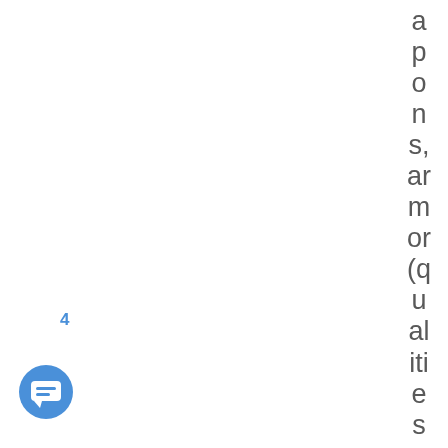apons, armor (qualities and fl
4